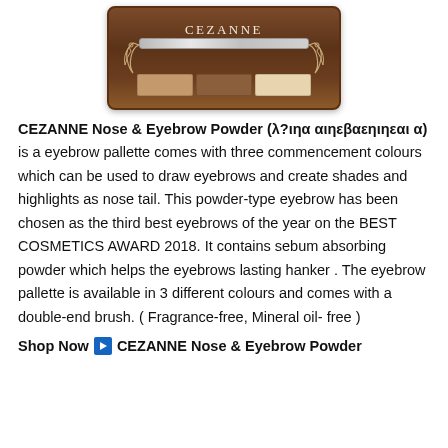[Figure (photo): CEZANNE Nose & Eyebrow Powder compact palette product photo showing a brown compact with CEZANNE label, a brush/applicator bar, decorative scrollwork on sides, and three powder color pans at the bottom.]
CEZANNE Nose & Eyebrow Powder (セザンヌ ノーズ＆アイブロウパウダー) is a eyebrow pallette comes with three commencement colours which can be used to draw eyebrows and create shades and highlights as nose tail. This powder-type eyebrow has been chosen as the third best eyebrows of the year on the BEST COSMETICS AWARD 2018. It contains sebum absorbing powder which helps the eyebrows lasting hanker . The eyebrow pallette is available in 3 different colours and comes with a double-end brush. ( Fragrance-free, Mineral oil-free )
Shop Now ▶ CEZANNE Nose & Eyebrow Powder